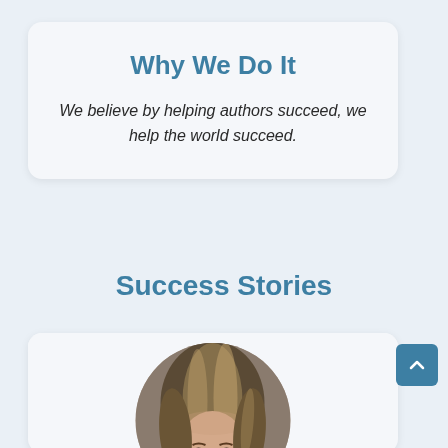Why We Do It
We believe by helping authors succeed, we help the world succeed.
Success Stories
[Figure (photo): Circular portrait photo of a woman with blonde highlighted hair, looking slightly downward, shown from the shoulders up.]